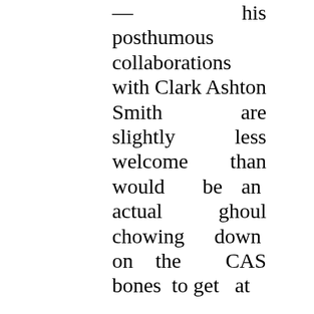— his posthumous collaborations with Clark Ashton Smith are slightly less welcome than would be an actual ghoul chowing down on the CAS bones to get at